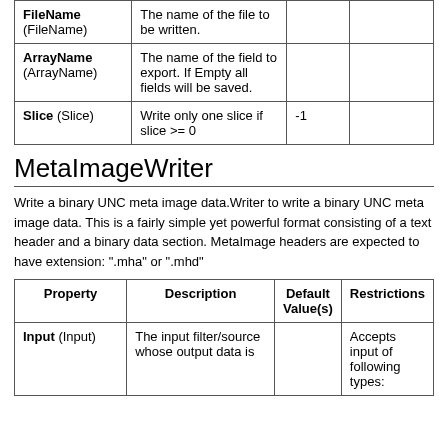| Property | Description | Default Value(s) | Restrictions |
| --- | --- | --- | --- |
| FileName (FileName) | The name of the file to be written. |  |  |
| ArrayName (ArrayName) | The name of the field to export. If Empty all fields will be saved. |  |  |
| Slice (Slice) | Write only one slice if slice >= 0 | -1 |  |
MetaImageWriter
Write a binary UNC meta image data.Writer to write a binary UNC meta image data. This is a fairly simple yet powerful format consisting of a text header and a binary data section. MetaImage headers are expected to have extension: ".mha" or ".mhd"
| Property | Description | Default Value(s) | Restrictions |
| --- | --- | --- | --- |
| Input (Input) | The input filter/source whose output data is written. |  | Accepts input of following types: |